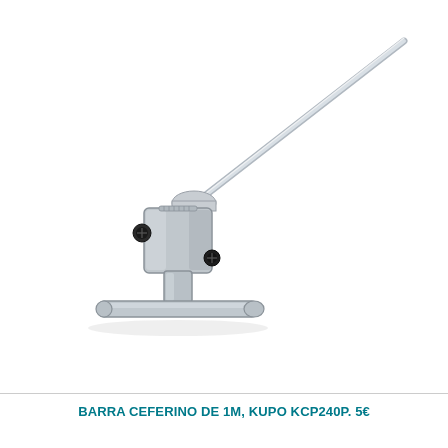[Figure (photo): A metal Ceferino bar (Kupo KCP240P) — a 1-meter chromed steel rod attached to a metal bracket/clamp assembly with a spigot base, shown diagonally with the rod extending to the upper right and the heavy-duty clamp and base at lower left.]
BARRA CEFERINO DE 1M, KUPO KCP240P. 5€